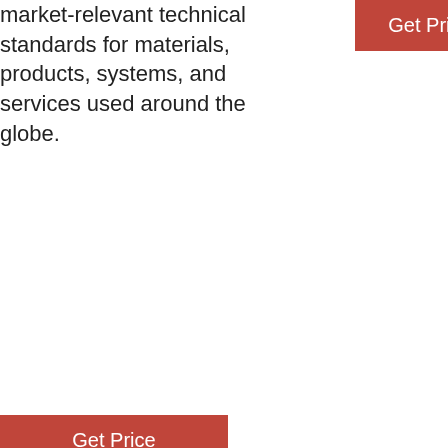market-relevant technical standards for materials, products, systems, and services used around the globe.
[Figure (other): Red 'Get Price' button (top right area)]
[Figure (other): Red 'Get Price' button (bottom left area)]
agod2002:d2002Selection Shop over 2,000,000 sheet music titles — from beginner to professional, bestselling Pop music books to hard-to-find Classical editions.: Service We're musicians dedicated to providing unsurpassed service to music lovers around the world. Call us at 1-800-SHEETMUSIC.